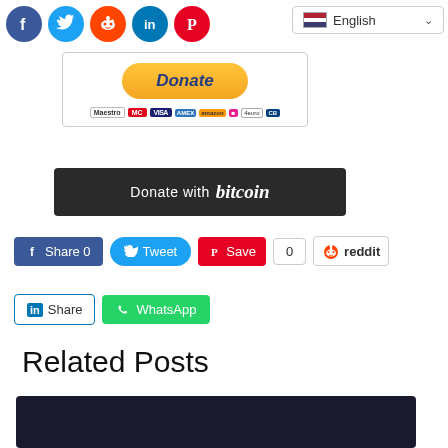[Figure (screenshot): Social media share icons: Facebook, Twitter, Reddit, LinkedIn, Pinterest circles]
[Figure (screenshot): Language selector dropdown showing English with US flag]
[Figure (screenshot): PayPal Donate button with payment card icons below it]
[Figure (screenshot): Donate with bitcoin button - dark background]
[Figure (screenshot): Social sharing buttons: Facebook Share 0, Tweet, Pinterest Save, count 0, Reddit]
[Figure (screenshot): LinkedIn Share and WhatsApp share buttons]
Related Posts
[Figure (screenshot): Dark card showing Arabic Language category and article title: Arabic Course: Learn Ara...]